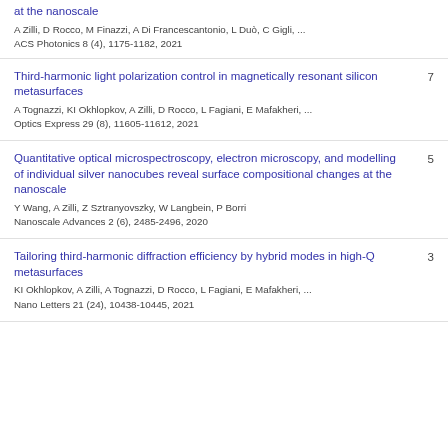at the nanoscale
A Zilli, D Rocco, M Finazzi, A Di Francescantonio, L Duò, C Gigli, ...
ACS Photonics 8 (4), 1175-1182, 2021
Third-harmonic light polarization control in magnetically resonant silicon metasurfaces
A Tognazzi, KI Okhlopkov, A Zilli, D Rocco, L Fagiani, E Mafakheri, ...
Optics Express 29 (8), 11605-11612, 2021
Quantitative optical microspectroscopy, electron microscopy, and modelling of individual silver nanocubes reveal surface compositional changes at the nanoscale
Y Wang, A Zilli, Z Sztranyovszky, W Langbein, P Borri
Nanoscale Advances 2 (6), 2485-2496, 2020
Tailoring third-harmonic diffraction efficiency by hybrid modes in high-Q metasurfaces
KI Okhlopkov, A Zilli, A Tognazzi, D Rocco, L Fagiani, E Mafakheri, ...
Nano Letters 21 (24), 10438-10445, 2021